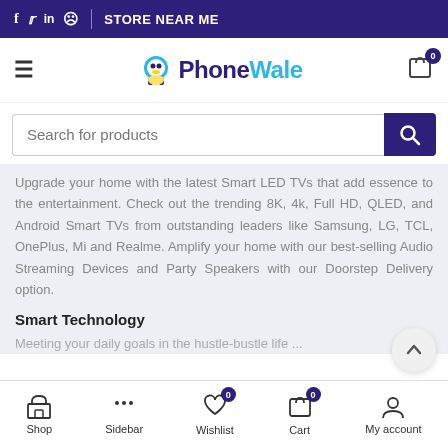f  tw  in  WhatsApp  |  STORE NEAR ME
[Figure (logo): PhoneWale logo with mascot icon. 'Phone' in dark purple and 'Wale' in light blue.]
Search for products
Upgrade your home with the latest Smart LED TVs that add essence to the entertainment. Check out the trending 8K, 4k, Full HD, QLED, and Android Smart TVs from outstanding leaders like Samsung, LG, TCL, OnePlus, Mi and Realme. Amplify your home with our best-selling Audio Streaming Devices and Party Speakers with our Doorstep Delivery option.
Smart Technology
Meeting your daily goals in the hustle-bustle life...
Shop  Sidebar  Wishlist (0)  Cart (0)  My account